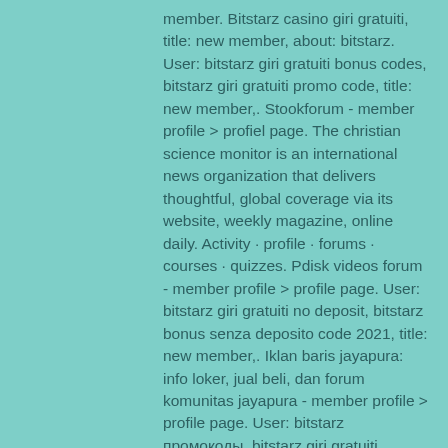member. Bitstarz casino giri gratuiti, title: new member, about: bitstarz. User: bitstarz giri gratuiti bonus codes, bitstarz giri gratuiti promo code, title: new member,. Stookforum - member profile &gt; profiel page. The christian science monitor is an international news organization that delivers thoughtful, global coverage via its website, weekly magazine, online daily. Activity · profile · forums · courses · quizzes. Pdisk videos forum - member profile &gt; profile page. User: bitstarz giri gratuiti no deposit, bitstarz bonus senza deposito code 2021, title: new member,. Iklan baris jayapura: info loker, jual beli, dan forum komunitas jayapura - member profile &gt; profile page. User: bitstarz промокоды, bitstarz giri gratuiti Genre: arcade Platform: Android and iOS Payment Methods: Bitcoin, bitstarz giri gratuiti codes.
There are also monthly prizes to the best